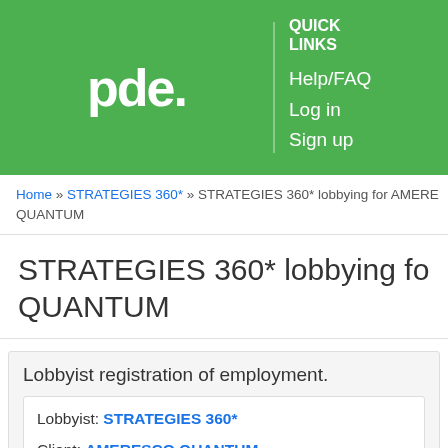[Figure (logo): PDE logo in white on green background header bar with Quick Links section showing Help/FAQ, Log in, Sign up links]
Home » STRATEGIES 360* » STRATEGIES 360* lobbying for AMERESCO QUANTUM
STRATEGIES 360* lobbying for AMERESCO QUANTUM
Lobbyist registration of employment.
Lobbyist: STRATEGIES 360*
Client: AMERESCO QUANTUM
Filed: October 12, 2016 - 6:46 am
Amended: February 11, 2019 - 1:59 pm